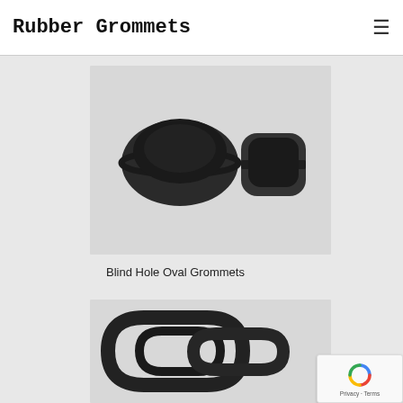Rubber Grommets
[Figure (photo): Two black rubber blind hole oval grommets photographed on white/grey background — one shown from front (oval face visible with groove), one from side angle]
Blind Hole Oval Grommets
[Figure (photo): Black rubber oval grommets or gaskets with looped/twisted shapes, photographed on grey background]
Privacy · Terms